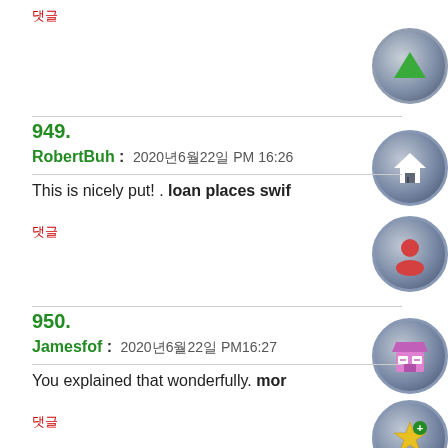댓글
949.
RobertBuh : 2020년6월22일 PM 16:26
This is nicely put! . loan places swif
댓글
950.
Jamesfof : 2020년6월22일 PM16:27
You explained that wonderfully. mor
댓글